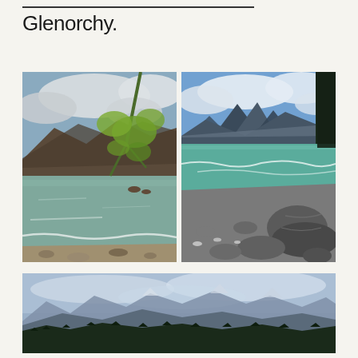Glenorchy.
[Figure (photo): Lake scene with mountains in background, tree branches hanging on right side, calm greenish-blue water with small waves on rocky shore. Overcast sky with clouds.]
[Figure (photo): Rocky shoreline with large boulders in foreground, turquoise lake water, sharp mountain peaks in background under partly cloudy blue sky.]
[Figure (photo): Panoramic mountain range view with tall peaks covered in snow/clouds, dark forested hills in foreground, hazy blue sky.]